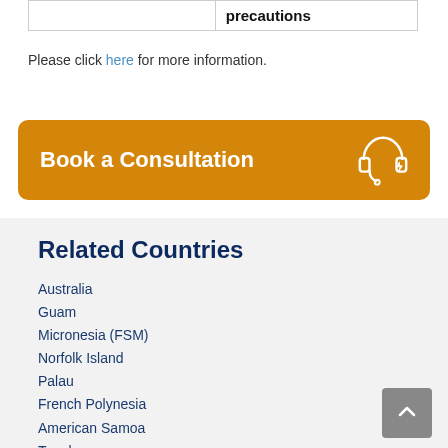|  | precautions |
| --- | --- |
|  |  |
Please click here for more information.
Book a Consultation
Related Countries
Australia
Guam
Micronesia (FSM)
Norfolk Island
Palau
French Polynesia
American Samoa
Tuvalu